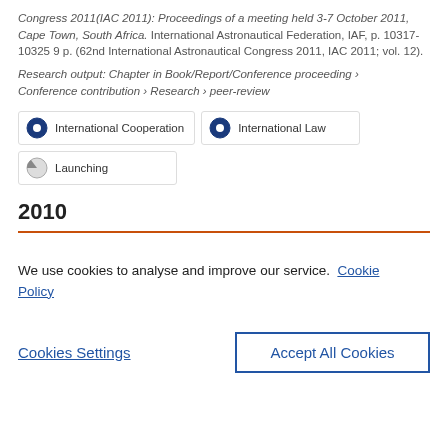Congress 2011(IAC 2011): Proceedings of a meeting held 3-7 October 2011, Cape Town, South Africa. International Astronautical Federation, IAF, p. 10317-10325 9 p. (62nd International Astronautical Congress 2011, IAC 2011; vol. 12). Research output: Chapter in Book/Report/Conference proceeding › Conference contribution › Research › peer-review
[Figure (infographic): Three keyword badges: 'International Cooperation' (filled blue circle icon), 'International Law' (filled blue circle icon), 'Launching' (partially filled circle icon)]
2010
We use cookies to analyse and improve our service. Cookie Policy
Cookies Settings | Accept All Cookies